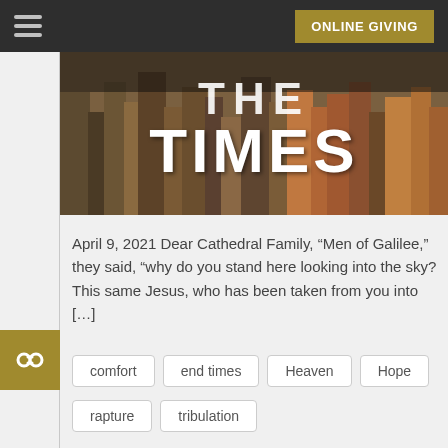ONLINE GIVING
[Figure (photo): City skyline photo with large white bold text reading TIMES overlaid]
April 9, 2021 Dear Cathedral Family, “Men of Galilee,” they said, “why do you stand here looking into the sky? This same Jesus, who has been taken from you into […]
comfort
end times
Heaven
Hope
rapture
tribulation